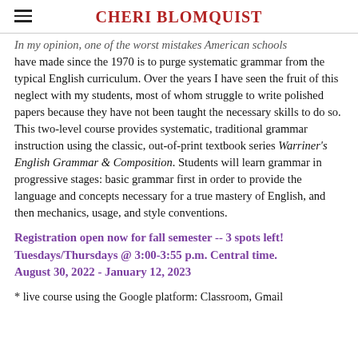CHERI BLOMQUIST
In my opinion, one of the worst mistakes American schools have made since the 1970 is to purge systematic grammar from the typical English curriculum. Over the years I have seen the fruit of this neglect with my students, most of whom struggle to write polished papers because they have not been taught the necessary skills to do so. This two-level course provides systematic, traditional grammar instruction using the classic, out-of-print textbook series Warriner's English Grammar & Composition. Students will learn grammar in progressive stages: basic grammar first in order to provide the language and concepts necessary for a true mastery of English, and then mechanics, usage, and style conventions.
Registration open now for fall semester -- 3 spots left! Tuesdays/Thursdays @ 3:00-3:55 p.m. Central time. August 30, 2022 - January 12, 2023
* live course using the Google platform: Classroom, Gmail